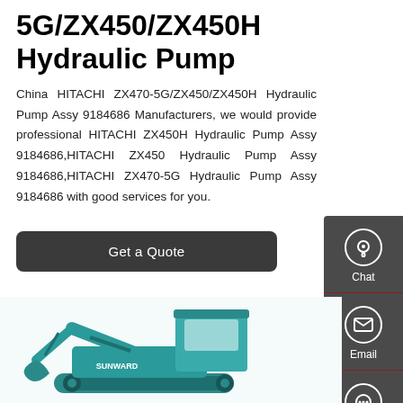5G/ZX450/ZX450H Hydraulic Pump
China HITACHI ZX470-5G/ZX450/ZX450H Hydraulic Pump Assy 9184686 Manufacturers, we would provide professional HITACHI ZX450H Hydraulic Pump Assy 9184686,HITACHI ZX450 Hydraulic Pump Assy 9184686,HITACHI ZX470-5G Hydraulic Pump Assy 9184686 with good services for you.
Get a Quote
[Figure (photo): Teal/green SUNWARD excavator construction machine photo at bottom of page]